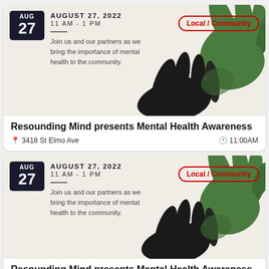[Figure (illustration): Event card with dark date badge showing AUG 27, green and black hands illustration on beige background, Local/Community tag in red, event description text]
Resounding Mind presents Mental Health Awareness
3418 St Elmo Ave   11:00AM
[Figure (illustration): Second event card identical to first with dark date badge showing AUG 27, green and black hands illustration on beige background, Local/Community tag in red, event description text]
Resounding Mind presents Mental Health Awareness